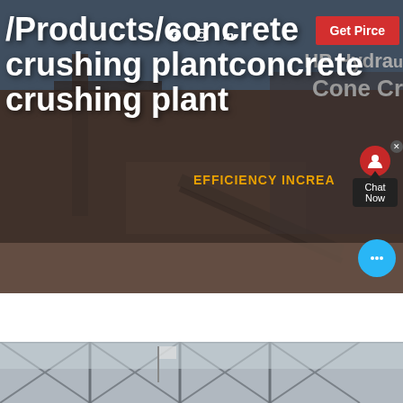[Figure (screenshot): Industrial crushing plant machinery website screenshot showing hero banner with white bold text '/Products/concrete crushing plantconcrete crushing plant' overlay on dark industrial photo background, with 'Get Pirce' red button, social media icons, and chat widget. Right side shows partial text 'HP Hydraulic Cone Crusher' and 'EFFICIENCY INCREA...' in grey/orange.]
[Figure (photo): Bottom portion showing interior of industrial building or plant with structural steel roof trusses.]